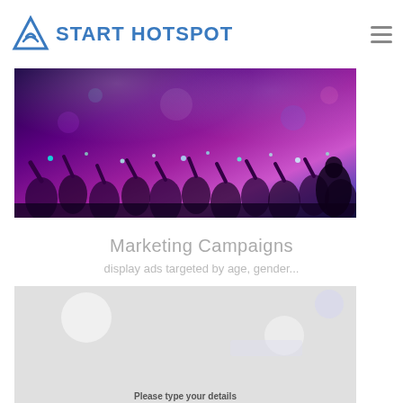START HOTSPOT
[Figure (photo): Crowd of people at a nightclub/concert with colorful purple and blue lighting and raised hands]
Marketing Campaigns
display ads targeted by age, gender...
[Figure (screenshot): Screenshot of a pharmacy WiFi login portal page showing a green cross logo and PHARMACY text in green, with 'Please type your details' text at the bottom]